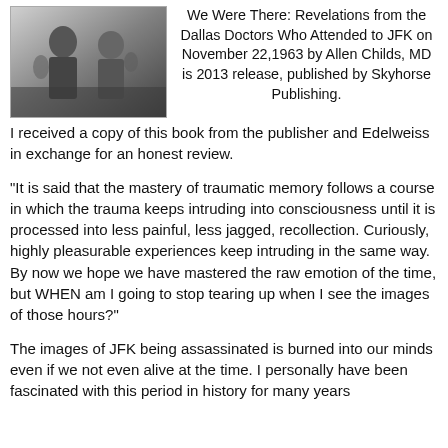[Figure (photo): Black and white photograph of two men, one in a suit, with flowers or plants visible in the background, appearing to be an author or book-related photo.]
We Were There: Revelations from the Dallas Doctors Who Attended to JFK on November 22,1963 by Allen Childs, MD is 2013 release, published by Skyhorse Publishing.
I received a copy of this book from the publisher and Edelweiss in exchange for an honest review.
"It is said that the mastery of traumatic memory follows a course in which the trauma keeps intruding into consciousness until it is processed into less painful, less jagged, recollection. Curiously, highly pleasurable experiences keep intruding in the same way. By now we hope we have mastered the raw emotion of the time, but WHEN am I going to stop tearing up when I see the images of those hours?"
The images of JFK being assassinated is burned into our minds even if we not even alive at the time. I personally have been fascinated with this period in history for many years